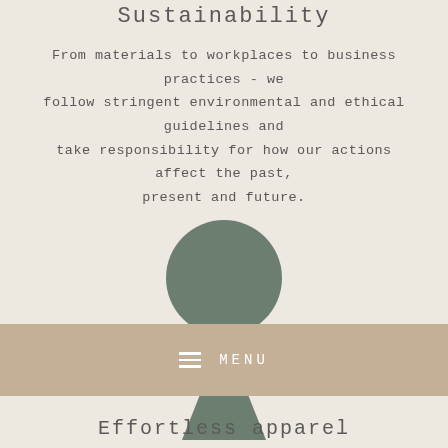Sustainability
From materials to workplaces to business practices - we follow stringent environmental and ethical guidelines and take responsibility for how our actions affect the past, present and future.
[Figure (illustration): Abstract illustration of a circle sitting atop a triangle, both in muted dark teal/green color, suggesting a stylized human figure or sustainability symbol]
MENU
Effortless apparel